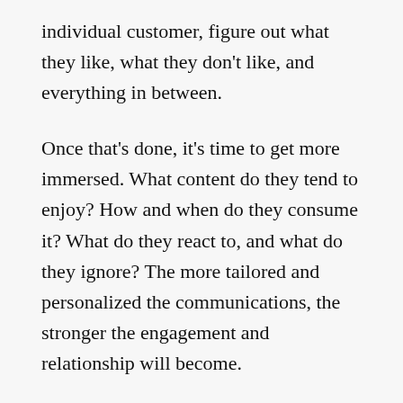individual customer, figure out what they like, what they don't like, and everything in between.
Once that's done, it's time to get more immersed. What content do they tend to enjoy? How and when do they consume it? What do they react to, and what do they ignore? The more tailored and personalized the communications, the stronger the engagement and relationship will become.
Numerous Wunderkind clients benefit from a